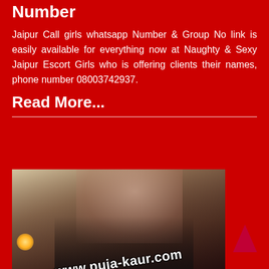Number
Jaipur Call girls whatsapp Number & Group No link is easily available for everything now at Naughty & Sexy Jaipur Escort Girls who is offering clients their names, phone number 08003742937.
Read More...
[Figure (photo): Photo of a young woman with long pink-highlighted hair, wearing a black outfit, with watermark text www.puja-kaur.com overlaid at the bottom]